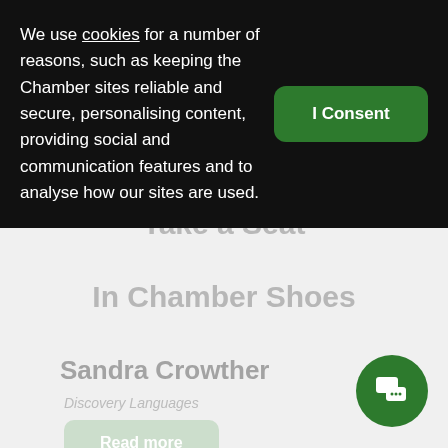We use cookies for a number of reasons, such as keeping the Chamber sites reliable and secure, personalising content, providing social and communication features and to analyse how our sites are used.
I Consent
Take a Seat
In Chamber Shoes
Sandra Crowther
Discovery Languages
Read more